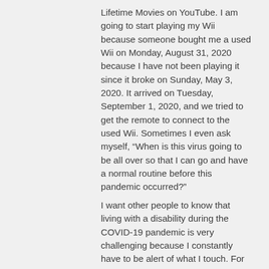Lifetime Movies on YouTube. I am going to start playing my Wii because someone bought me a used Wii on Monday, August 31, 2020 because I have not been playing it since it broke on Sunday, May 3, 2020. It arrived on Tuesday, September 1, 2020, and we tried to get the remote to connect to the used Wii. Sometimes I even ask myself, “When is this virus going to be all over so that I can go and have a normal routine before this pandemic occurred?”
I want other people to know that living with a disability during the COVID-19 pandemic is very challenging because I constantly have to be alert of what I touch. For example, if my face itches I use my shirt instead of using my hands.
At first I thought, “Am I going to get this virus?” But if I am to follow the guidelines and do the things that they advise us to do, for example, wipe down surfaces that are often being used every day etc., I don’t feel like I am going to get this virus.
If I were to go out and about I would be respectful by following the CDC Guidelines by social distancing, maintaining 6 feet, wearing a mask and...